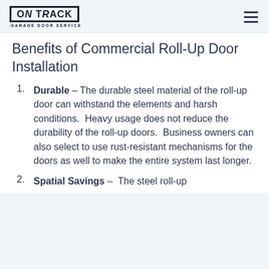On Track Garage Door Service
Benefits of Commercial Roll-Up Door Installation
Durable - The durable steel material of the roll-up door can withstand the elements and harsh conditions.  Heavy usage does not reduce the durability of the roll-up doors.  Business owners can also select to use rust-resistant mechanisms for the doors as well to make the entire system last longer.
Spatial Savings - The steel roll-up...